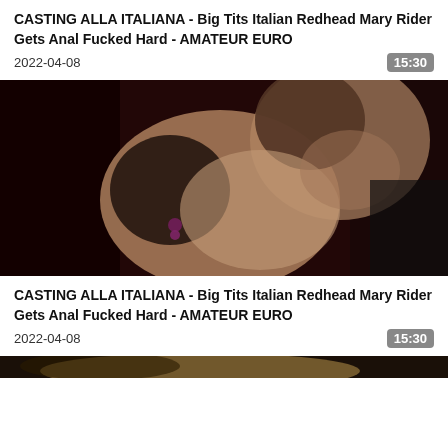CASTING ALLA ITALIANA - Big Tits Italian Redhead Mary Rider Gets Anal Fucked Hard - AMATEUR EURO
2022-04-08
15:30
[Figure (photo): Video thumbnail showing two people in an intimate scene with dark red background]
CASTING ALLA ITALIANA - Big Tits Italian Redhead Mary Rider Gets Anal Fucked Hard - AMATEUR EURO
2022-04-08
15:30
[Figure (photo): Bottom partial thumbnail visible]